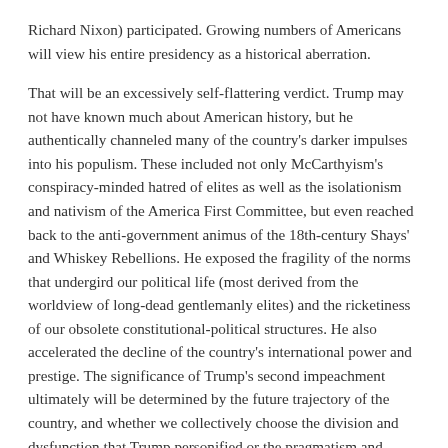Richard Nixon) participated. Growing numbers of Americans will view his entire presidency as a historical aberration.
That will be an excessively self-flattering verdict. Trump may not have known much about American history, but he authentically channeled many of the country's darker impulses into his populism. These included not only McCarthyism's conspiracy-minded hatred of elites as well as the isolationism and nativism of the America First Committee, but even reached back to the anti-government animus of the 18th-century Shays' and Whiskey Rebellions. He exposed the fragility of the norms that undergird our political life (most derived from the worldview of long-dead gentlemanly elites) and the ricketiness of our obsolete constitutional-political structures. He also accelerated the decline of the country's international power and prestige. The significance of Trump's second impeachment ultimately will be determined by the future trajectory of the country, and whether we collectively choose the division and dysfunction that Trump personified or the pragmatism and progress that characterized much of what once was called the American Century.
'This acquittal sends three dangerous messages to future presidents'